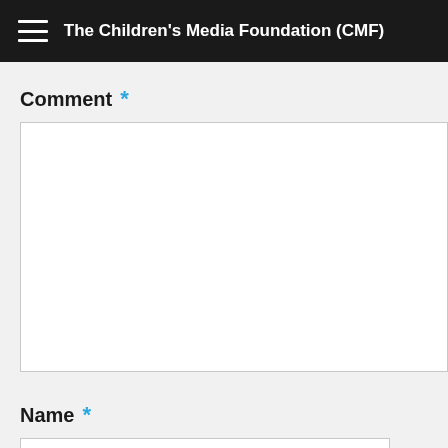The Children's Media Foundation (CMF)
Comment *
Name *
Email *
Website